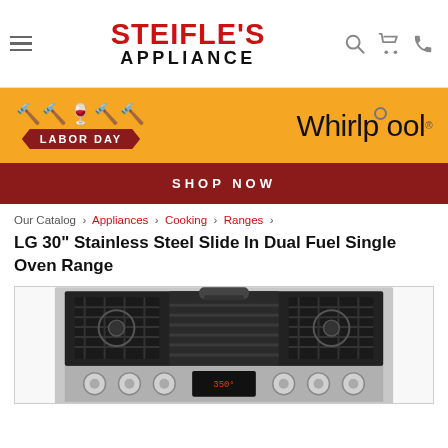STEIFLE'S APPLIANCE
[Figure (infographic): Labor Day sale banner with Whirlpool logo on orange background and dark red SHOP NOW button]
Our Catalog › Appliances › Cooking › Ranges ›
LG 30" Stainless Steel Slide In Dual Fuel Single Oven Range
[Figure (photo): Top-down view of an LG 30 inch stainless steel slide-in dual fuel single oven range showing gas burners, grill, and control knobs]